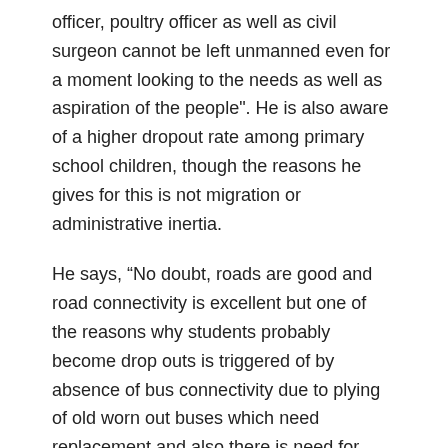officer, poultry officer as well as civil surgeon cannot be left unmanned even for a moment looking to the needs as well as aspiration of the people". He is also aware of a higher dropout rate among primary school children, though the reasons he gives for this is not migration or administrative inertia.
He says, “No doubt, roads are good and road connectivity is excellent but one of the reasons why students probably become drop outs is triggered of by absence of bus connectivity due to plying of old worn out buses which need replacement and also there is need for introduction of bus routes in areas now connected with new roads. The schools are poorly attended by children though parents want them to got but sending them in unreliable and unworthy transport vehicles, which get stuck in midst of forests.”
A recent research paper, “Status of Primary Education: A Case